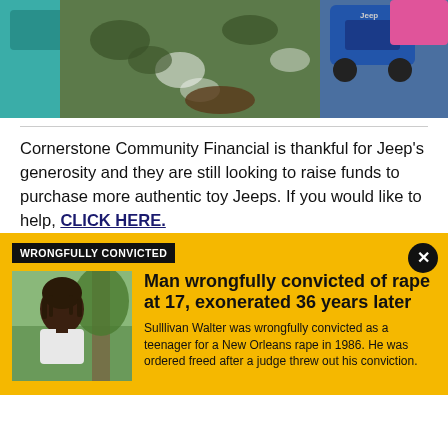[Figure (photo): Person wearing camouflage jacket with toy Jeep vehicles in background]
Cornerstone Community Financial is thankful for Jeep's generosity and they are still looking to raise funds to purchase more authentic toy Jeeps. If you would like to help, CLICK HERE.
[Figure (photo): Advertisement card with yellow background. Tag: WRONGFULLY CONVICTED. Photo of man with dreadlocks in white shirt outdoors. Headline: Man wrongfully convicted of rape at 17, exonerated 36 years later. Body: Sulllivan Walter was wrongfully convicted as a teenager for a New Orleans rape in 1986. He was ordered freed after a judge threw out his conviction.]